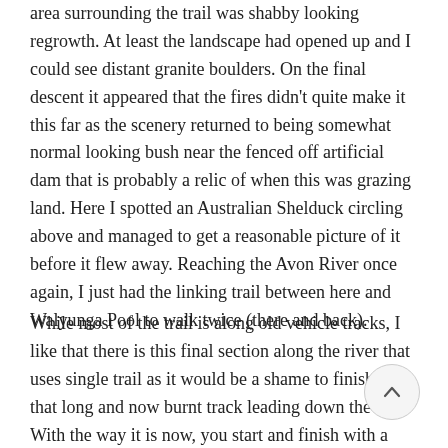area surrounding the trail was shabby looking regrowth. At least the landscape had opened up and I could see distant granite boulders. On the final descent it appeared that the fires didn't quite make it this far as the scenery returned to being somewhat normal looking bush near the fenced off artificial dam that is probably a relic of when this was grazing land. Here I spotted an Australian Shelduck circling above and managed to get a reasonable picture of it before it flew away. Reaching the Avon River once again, I just had the linking trail between here and Walyunga Pool to walk twice (there and back).
While most of the trail is along old vehicle tracks, I like that there is this final section along the river that uses single trail as it would be a shame to finish with that long and now burnt track leading down the hill. With the way it is now, you start and finish with a river walk and it's a great experience to see it twice on the hike. The best and more interesting river views are along this linking path with lots of little rapids, areas to wander down and explore plus a couple of areas to have a swim if the conditions are right. This stretch also hosts the annual Avon Descent and there are wires